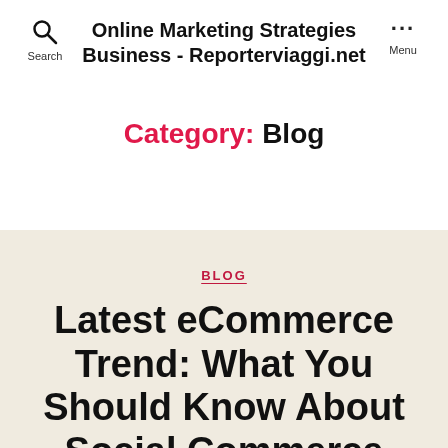Online Marketing Strategies Business - Reporterviaggi.net
Category: Blog
BLOG
Latest eCommerce Trend: What You Should Know About Social Commerce